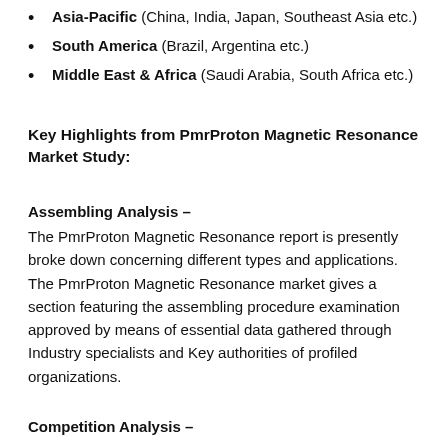Asia-Pacific (China, India, Japan, Southeast Asia etc.)
South America (Brazil, Argentina etc.)
Middle East & Africa (Saudi Arabia, South Africa etc.)
Key Highlights from Pmr​Proton Magnetic Resonance​ Market Study:
Assembling Analysis –
The Pmr​Proton Magnetic Resonance​ report is presently broke down concerning different types and applications. The Pmr​Proton Magnetic Resonance​ market gives a section featuring the assembling procedure examination approved by means of essential data gathered through Industry specialists and Key authorities of profiled organizations.
Competition Analysis –